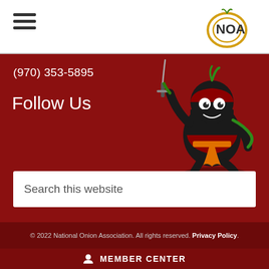[Figure (logo): NOA (National Onion Association) logo - circular gold/yellow design with NOA text]
(970) 353-5895
Follow Us
[Figure (illustration): Ninja onion mascot character holding a sword, wearing black ninja outfit with orange belt and red onion body]
Search this website
© 2022 National Onion Association. All rights reserved. Privacy Policy.
MEMBER CENTER